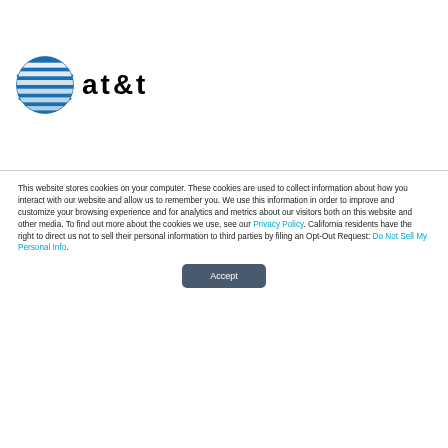[Figure (logo): AT&T globe logo and wordmark]
This website stores cookies on your computer. These cookies are used to collect information about how you interact with our website and allow us to remember you. We use this information in order to improve and customize your browsing experience and for analytics and metrics about our visitors both on this website and other media. To find out more about the cookies we use, see our Privacy Policy. California residents have the right to direct us not to sell their personal information to third parties by filing an Opt-Out Request: Do Not Sell My Personal Info.